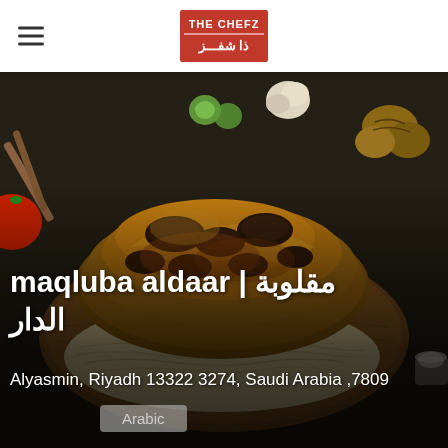THE CHEFZ / ذا شفز
[Figure (photo): Maqluba dish (upside-down rice cake with eggplant) on a wooden platter, surrounded by garlic, walnuts, sliced vegetables on a dark surface]
maqluba aldaar | مقلوبة الدار
Alyasmin, Riyadh 13322 3274, Saudi Arabia ,7809
Arabic